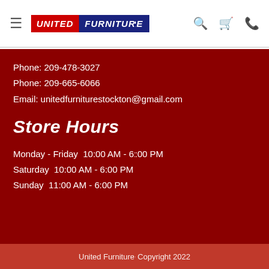United Furniture — navigation bar with hamburger menu, logo, search, cart, and phone icons
Phone: 209-478-3027
Phone: 209-665-6066
Email: unitedfurniturestockton@gmail.com
Store Hours
Monday - Friday  10:00 AM - 6:00 PM
Saturday  10:00 AM - 6:00 PM
Sunday  11:00 AM - 6:00 PM
United Furniture Copyright 2022